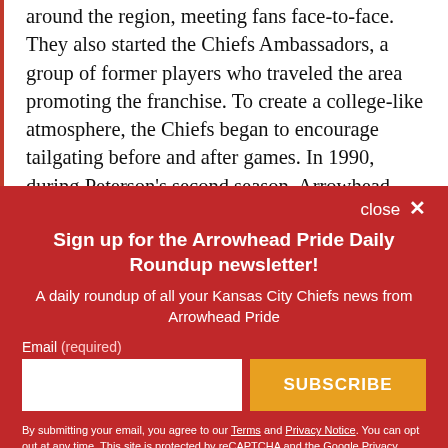around the region, meeting fans face-to-face. They also started the Chiefs Ambassadors, a group of former players who traveled the area promoting the franchise. To create a college-like atmosphere, the Chiefs began to encourage tailgating before and after games. In 1990, during Peterson's second season, Arrowhead finally sold out again.
close ×
Sign up for the Arrowhead Pride Daily Roundup newsletter!
A daily roundup of all your Kansas City Chiefs news from Arrowhead Pride
Email (required)
SUBSCRIBE
By submitting your email, you agree to our Terms and Privacy Notice. You can opt out at any time. This site is protected by reCAPTCHA and the Google Privacy Policy and Terms of Service apply.